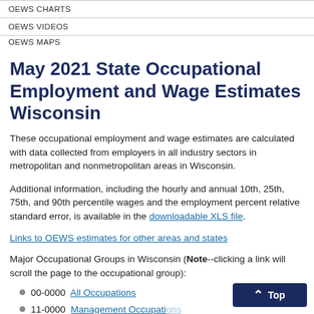OEWS CHARTS
OEWS VIDEOS
OEWS MAPS
May 2021 State Occupational Employment and Wage Estimates Wisconsin
These occupational employment and wage estimates are calculated with data collected from employers in all industry sectors in metropolitan and nonmetropolitan areas in Wisconsin.
Additional information, including the hourly and annual 10th, 25th, 75th, and 90th percentile wages and the employment percent relative standard error, is available in the downloadable XLS file.
Links to OEWS estimates for other areas and states
Major Occupational Groups in Wisconsin (Note--clicking a link will scroll the page to the occupational group):
00-0000  All Occupations
11-0000  Management Occupations